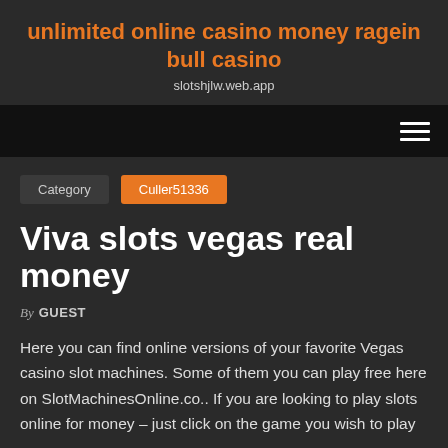unlimited online casino money ragein bull casino
slotshjlw.web.app
navigation bar with hamburger menu
Category  Culler51336
Viva slots vegas real money
By GUEST
Here you can find online versions of your favorite Vegas casino slot machines. Some of them you can play free here on SlotMachinesOnline.co.. If you are looking to play slots online for money – just click on the game you wish to play